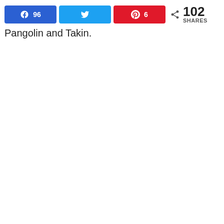[Figure (infographic): Social share bar with Facebook (96 shares), Twitter, Pinterest (6 shares), and a total share count of 102 SHARES]
Pangolin and Takin.